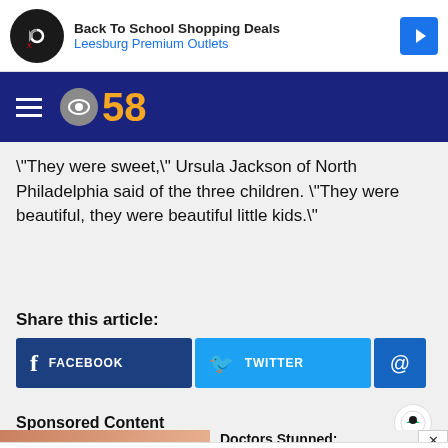[Figure (screenshot): Top advertisement banner: Back To School Shopping Deals, Leesburg Premium Outlets]
CBS 58 navigation bar with hamburger menu and CBS 58 logo
"They were sweet," Ursula Jackson of North Philadelphia said of the three children. "They were beautiful, they were beautiful little kids."
Share this article:
[Figure (screenshot): Social share buttons: Facebook, Twitter, Email (@)]
Sponsored Content
[Figure (screenshot): Sponsored content section with Taboola logo and preview image with 'Doctors Stunned:' headline]
[Figure (screenshot): Bottom advertisement: Goodyear Summer Savings, Virginia Tire & Auto of Ashburn]